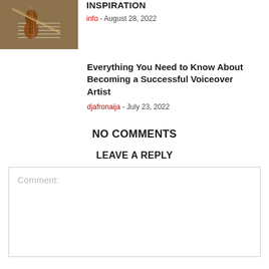[Figure (photo): Thumbnail photo of violin, sheet music, and bow on a table]
INSPIRATION
info - August 28, 2022
Everything You Need to Know About Becoming a Successful Voiceover Artist
djafronaija - July 23, 2022
NO COMMENTS
LEAVE A REPLY
Comment: